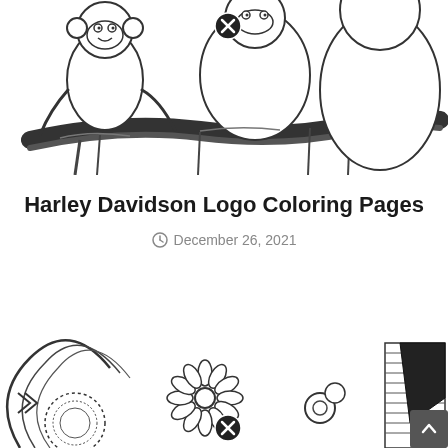[Figure (illustration): Black and white coloring page showing monkeys/animals sitting on a branch, partially cropped at top. A close button (X icon) is visible in the upper area.]
Harley Davidson Logo Coloring Pages
December 26, 2021
[Figure (illustration): Black and white coloring page showing intricate mandala/floral patterns with sunflowers, paisley, and decorative elements, partially cropped at bottom. A close button (X icon) is visible near the bottom.]